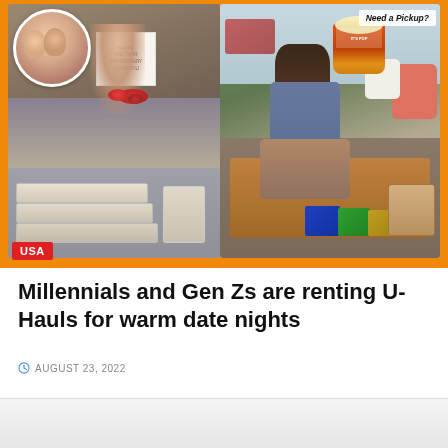[Figure (photo): Collage of photos on orange background: left side shows two women smiling in a circle portrait, a woman holding a 'Happy One Year Anniversary I Love You' sign surrounded by food boxes; right side shows a woman sitting in a truck bed holding a large popcorn bucket with snacks around her, a 'Need a Pickup?' sign visible in background]
USA
Millennials and Gen Zs are renting U-Hauls for warm date nights
AUGUST 23, 2022
[Figure (photo): Partial bottom image, mostly cropped out of view]